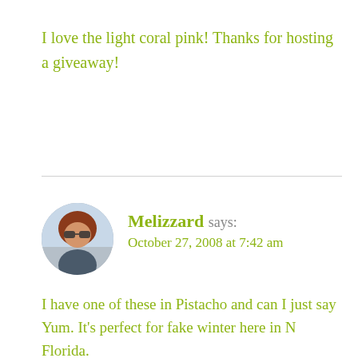I love the light coral pink! Thanks for hosting a giveaway!
[Figure (photo): Circular avatar photo of Melizzard, a woman with red hair and sunglasses]
Melizzard says: October 27, 2008 at 7:42 am
I have one of these in Pistacho and can I just say Yum. It's perfect for fake winter here in N Florida.
This year I think I will be digging the Vivid Plum!